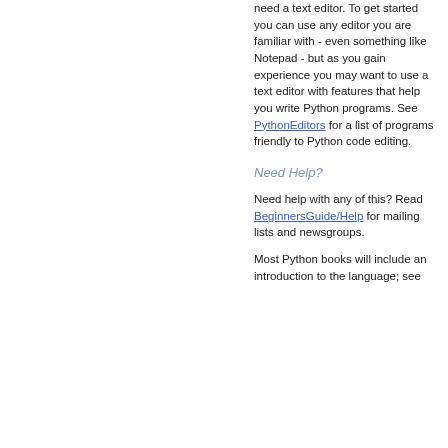need a text editor. To get started you can use any editor you are familiar with - even something like Notepad - but as you gain experience you may want to use a text editor with features that help you write Python programs. See PythonEditors for a list of programs friendly to Python code editing.
Need Help?
Need help with any of this? Read BeginnersGuide/Help for mailing lists and newsgroups.
Most Python books will include an introduction to the language; see